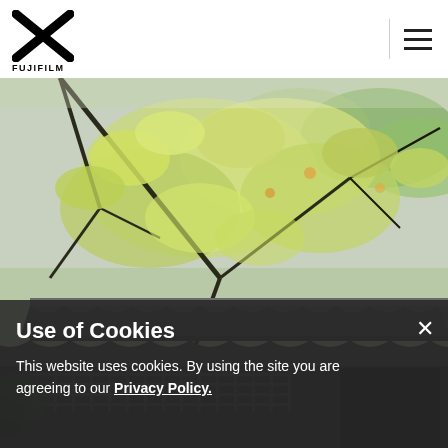FUJIFILM logo and navigation bar
[Figure (photo): Japanese garden scene with green maple tree branches and leaves in foreground, traditional tiled roof building in background, bright sunlit photo]
Use of Cookies
This website uses cookies. By using the site you are agreeing to our Privacy Policy.